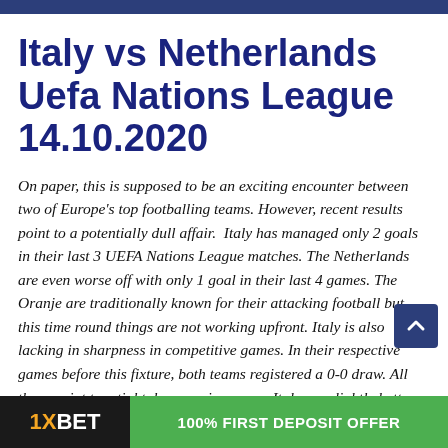Italy vs Netherlands Uefa Nations League 14.10.2020
On paper, this is supposed to be an exciting encounter between two of Europe's top footballing teams. However, recent results point to a potentially dull affair.  Italy has managed only 2 goals in their last 3 UEFA Nations League matches. The Netherlands are even worse off with only 1 goal in their last 4 games. The Oranje are traditionally known for their attacking football but this time round things are not working upfront. Italy is also lacking in sharpness in competitive games. In their respective games before this fixture, both teams registered a 0-0 draw. All these point to a tight, low-scoring game. Italy are slightly better and might grind a
[Figure (other): 1XBET 100% FIRST DEPOSIT OFFER advertisement banner at the bottom of the page]